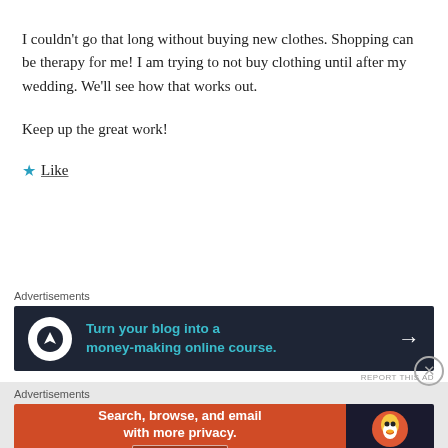I couldn't go that long without buying new clothes. Shopping can be therapy for me! I am trying to not buy clothing until after my wedding. We'll see how that works out.
Keep up the great work!
★ Like
Advertisements
[Figure (screenshot): Dark banner ad: circular icon with person/mountain silhouette, teal text 'Turn your blog into a money-making online course.' with right arrow]
REPORT THIS AD
Advertisements
[Figure (screenshot): DuckDuckGo ad: orange left section with 'Search, browse, and email with more privacy. All in One Free App', dark right section with DuckDuckGo logo]